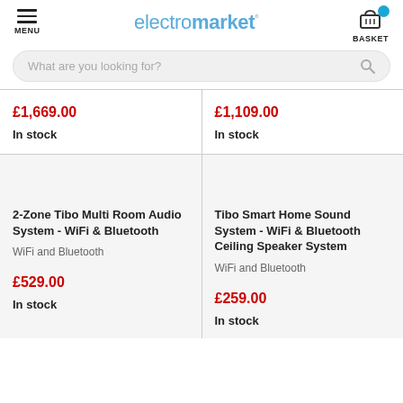electromarket® — MENU | BASKET
What are you looking for?
£1,669.00
In stock
£1,109.00
In stock
2-Zone Tibo Multi Room Audio System - WiFi & Bluetooth
WiFi and Bluetooth
£529.00
In stock
Tibo Smart Home Sound System - WiFi & Bluetooth Ceiling Speaker System
WiFi and Bluetooth
£259.00
In stock